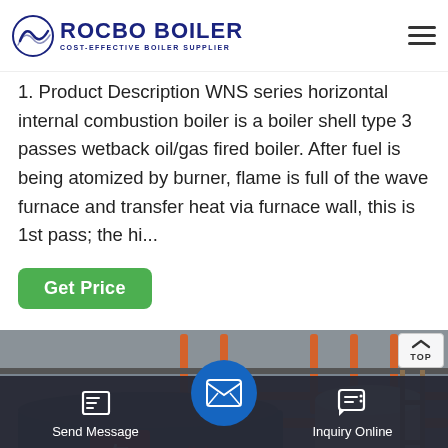[Figure (logo): Rocbo Boiler logo with circular wave icon and text 'ROCBO BOILER / COST-EFFECTIVE BOILER SUPPLIER' in navy blue]
1. Product Description WNS series horizontal internal combustion boiler is a boiler shell type 3 passes wetback oil/gas fired boiler. After fuel is being atomized by burner, flame is full of the wave furnace and transfer heat via furnace wall, this is 1st pass; the hi...
[Figure (other): Green 'Get Price' button]
[Figure (photo): Interior photo of industrial boiler facility showing large blue cylindrical boiler with red Chinese characters, orange pipes on ceiling, stainless steel tanks]
[Figure (other): Bottom navigation bar with Send Message and Inquiry Online buttons, and a central blue circular email button]